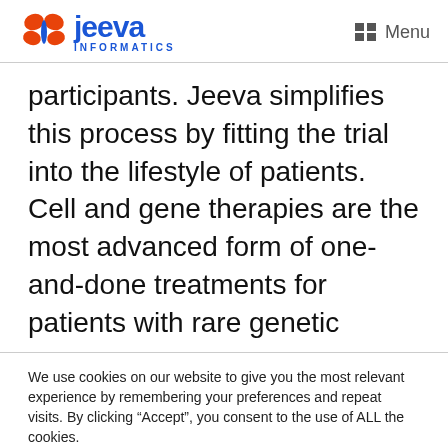[Figure (logo): Jeeva Informatics logo with orange butterfly and blue text]
participants. Jeeva simplifies this process by fitting the trial into the lifestyle of patients. Cell and gene therapies are the most advanced form of one-and-done treatments for patients with rare genetic
We use cookies on our website to give you the most relevant experience by remembering your preferences and repeat visits. By clicking “Accept”, you consent to the use of ALL the cookies. Do not sell my personal information.